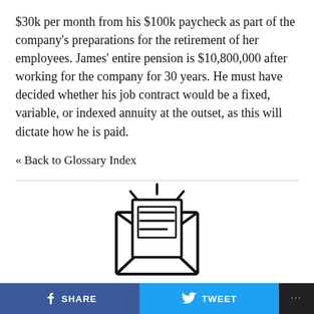$30k per month from his $100k paycheck as part of the company's preparations for the retirement of her employees. James' entire pension is $10,800,000 after working for the company for 30 years. He must have decided whether his job contract would be a fixed, variable, or indexed annuity at the outset, as this will dictate how he is paid.
« Back to Glossary Index
[Figure (illustration): Newsletter envelope icon — an open envelope with a letter/document inside showing text lines, with radiating lines above indicating notification or announcement]
SUBSCRIBE TO OUR
f SHARE   TWEET   ...